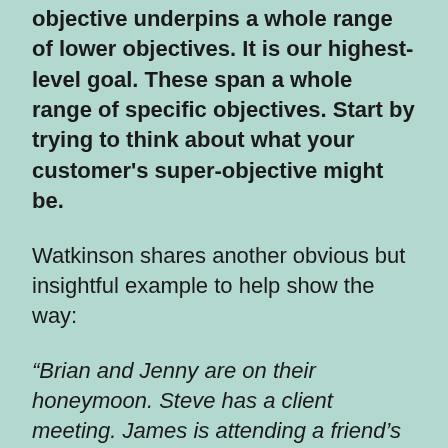objective underpins a whole range of lower objectives. It is our highest-level goal. These span a whole range of specific objectives. Start by trying to think about what your customer's super-objective might be.
Watkinson shares another obvious but insightful example to help show the way:
“Brian and Jenny are on their honeymoon. Steve has a client meeting. James is attending a friend’s funeral. They are all flying economy class to San Francisco.